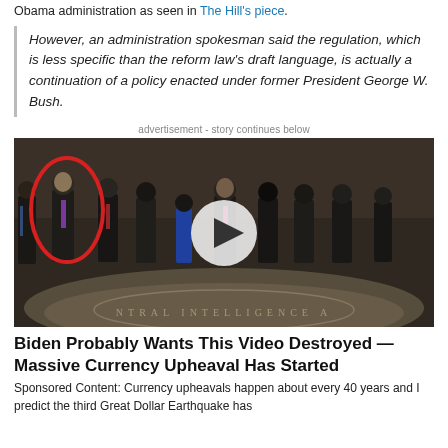Obama administration as seen in The Hill's piece.
However, an administration spokesman said the regulation, which is less specific than the reform law's draft language, is actually a continuation of a policy enacted under former President George W. Bush.
advertisement - story continues below
[Figure (photo): Group photo of men in suits standing in the CIA headquarters lobby with the CIA seal on the floor. One man on the left is highlighted with a red circle. A video play button overlay is visible in the center.]
Biden Probably Wants This Video Destroyed — Massive Currency Upheaval Has Started
Sponsored Content: Currency upheavals happen about every 40 years and I predict the third Great Dollar Earthquake has